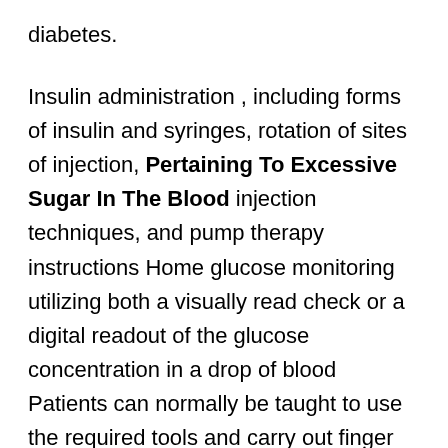diabetes.
Insulin administration , including forms of insulin and syringes, rotation of sites of injection, Pertaining To Excessive Sugar In The Blood injection techniques, and pump therapy instructions Home glucose monitoring utilizing both a visually read check or a digital readout of the glucose concentration in a drop of blood Patients can normally be taught to use the required tools and carry out finger sticks.
In addition, some physicians advocate the use of medicines, similar to metformin , to assist prevent delay the onset of overt diabetes Unlike type 1